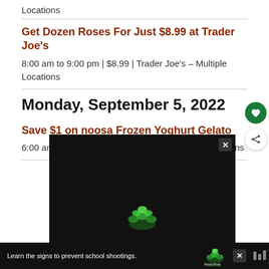Locations
Get Dozen Roses For Just $8.99 at Trader Joe's
8:00 am to 9:00 pm | $8.99 | Trader Joe's – Multiple Locations
Monday, September 5, 2022
Save $1 on noosa Frozen Yoghurt Gelato
6:00 am to 10:00 pm | Discounted | Various Locations
[Figure (screenshot): Advertisement banner with dark background showing a green tree/hands logo for Sandy Hook Promise, with text 'Learn the signs to prevent school shootings.']